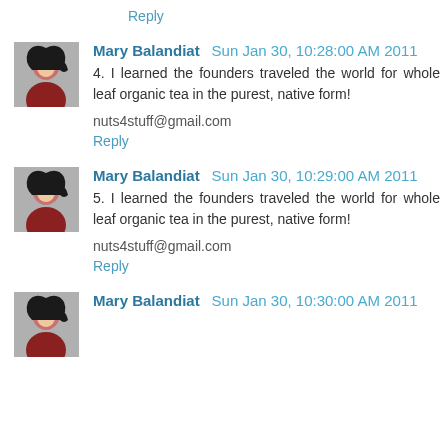Reply
Mary Balandiat  Sun Jan 30, 10:28:00 AM 2011
4. I learned the founders traveled the world for whole leaf organic tea in the purest, native form!
nuts4stuff@gmail.com
Reply
Mary Balandiat  Sun Jan 30, 10:29:00 AM 2011
5. I learned the founders traveled the world for whole leaf organic tea in the purest, native form!
nuts4stuff@gmail.com
Reply
Mary Balandiat  Sun Jan 30, 10:30:00 AM 2011